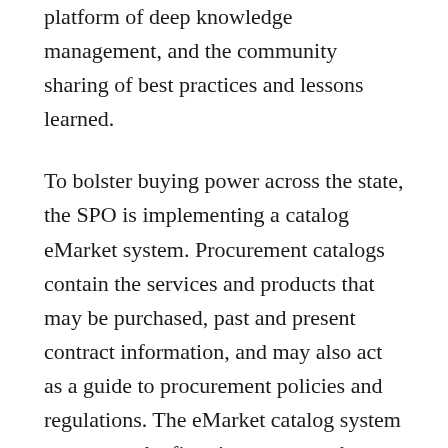platform of deep knowledge management, and the community sharing of best practices and lessons learned.
To bolster buying power across the state, the SPO is implementing a catalog eMarket system. Procurement catalogs contain the services and products that may be purchased, past and present contract information, and may also act as a guide to procurement policies and regulations. The eMarket catalog system represents the first time any state has developed catalogs with a solid historical basis; the self-funding